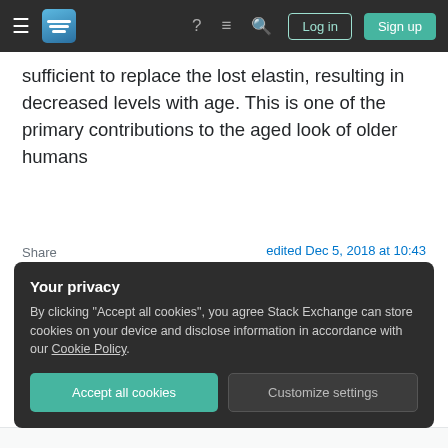Stack Exchange navigation bar with logo, icons, Log in, and Sign up buttons
sufficient to replace the lost elastin, resulting in decreased levels with age. This is one of the primary contributions to the aged look of older humans
Share
Improve this answer
Follow
edited Dec 5, 2018 at 10:43
answered Dec 1, 2018 at 8:44
Alex I
382  3  12
Your privacy
By clicking "Accept all cookies", you agree Stack Exchange can store cookies on your device and disclose information in accordance with our Cookie Policy.
Accept all cookies  Customize settings